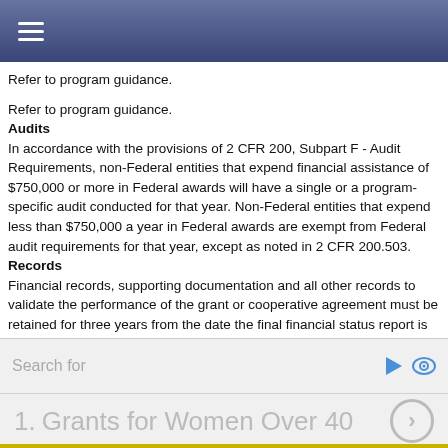≡ (navigation menu)
Refer to program guidance.
Refer to program guidance.
Audits
In accordance with the provisions of 2 CFR 200, Subpart F - Audit Requirements, non-Federal entities that expend financial assistance of $750,000 or more in Federal awards will have a single or a program-specific audit conducted for that year. Non-Federal entities that expend less than $750,000 a year in Federal awards are exempt from Federal audit requirements for that year, except as noted in 2 CFR 200.503.
Records
Financial records, supporting documentation and all other records to validate the performance of the grant or cooperative agreement must be retained for three years from the date the final financial status report is submitted to the DHS.
Financial Information
Account Identification
70-0702-0-1-760.
Obligations